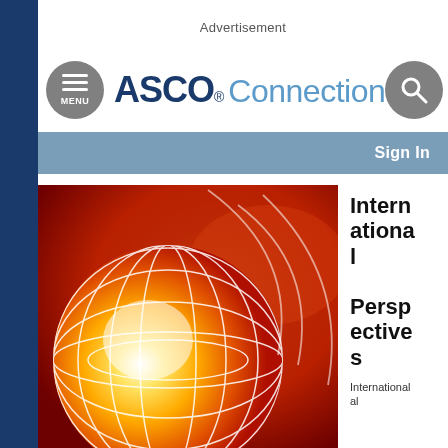Advertisement
[Figure (logo): ASCO Connection logo with menu button and search button]
Sign In
[Figure (illustration): Globe illustration with glowing white grid lines on red and orange gradient background]
International Perspectives
International al